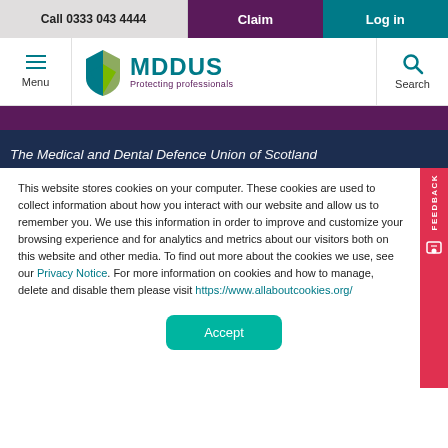Call 0333 043 4444 | Claim | Log in
[Figure (logo): MDDUS logo with shield icon and tagline 'Protecting professionals']
The Medical and Dental Defence Union of Scotland
This website stores cookies on your computer. These cookies are used to collect information about how you interact with our website and allow us to remember you. We use this information in order to improve and customize your browsing experience and for analytics and metrics about our visitors both on this website and other media. To find out more about the cookies we use, see our Privacy Notice. For more information on cookies and how to manage, delete and disable them please visit https://www.allaboutcookies.org/